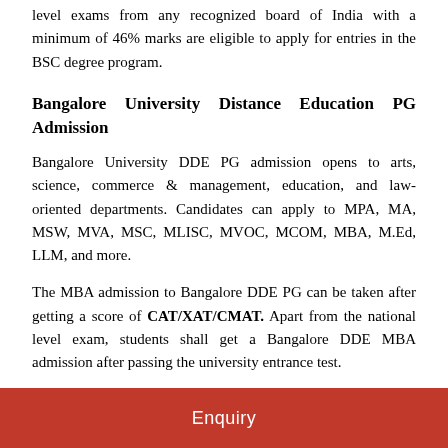level exams from any recognized board of India with a minimum of 46% marks are eligible to apply for entries in the BSC degree program.
Bangalore University Distance Education PG Admission
Bangalore University DDE PG admission opens to arts, science, commerce & management, education, and law-oriented departments. Candidates can apply to MPA, MA, MSW, MVA, MSC, MLISC, MVOC, MCOM, MBA, M.Ed, LLM, and more.
The MBA admission to Bangalore DDE PG can be taken after getting a score of CAT/XAT/CMAT. Apart from the national level exam, students shall get a Bangalore DDE MBA admission after passing the university entrance test.
Enquiry